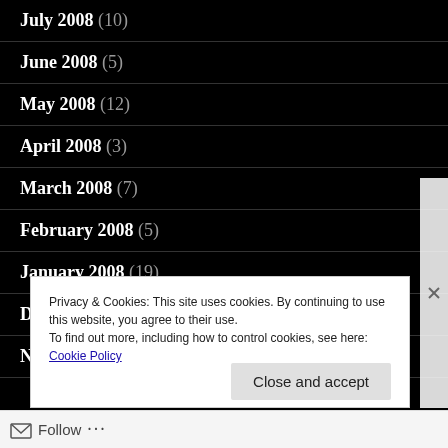July 2008 (10)
June 2008 (5)
May 2008 (12)
April 2008 (3)
March 2008 (7)
February 2008 (5)
January 2008 (19)
December 2007 (5)
November 2007 (10)
Privacy & Cookies: This site uses cookies. By continuing to use this website, you agree to their use.
To find out more, including how to control cookies, see here: Cookie Policy
Close and accept
Follow